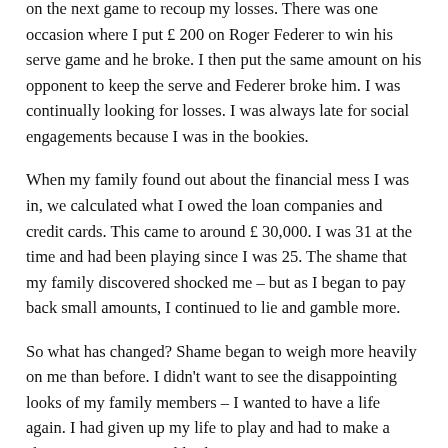on the next game to recoup my losses. There was one occasion where I put £ 200 on Roger Federer to win his serve game and he broke. I then put the same amount on his opponent to keep the serve and Federer broke him. I was continually looking for losses. I was always late for social engagements because I was in the bookies.
When my family found out about the financial mess I was in, we calculated what I owed the loan companies and credit cards. This came to around £ 30,000. I was 31 at the time and had been playing since I was 25. The shame that my family discovered shocked me – but as I began to pay back small amounts, I continued to lie and gamble more.
So what has changed? Shame began to weigh more heavily on me than before. I didn't want to see the disappointing looks of my family members – I wanted to have a life again. I had given up my life to play and had to make a change or I never would. The next